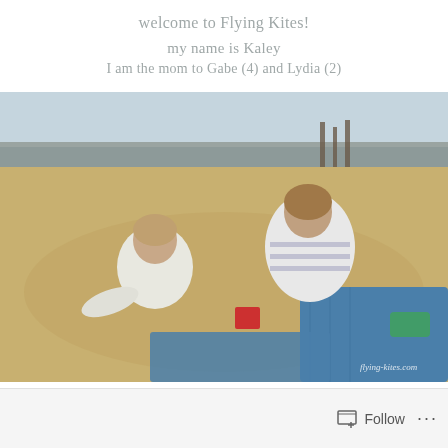welcome to Flying Kites!
my name is Kaley
I am the mom to Gabe (4) and Lydia (2)
[Figure (photo): Two young children playing in the sand on a beach. One child wears a white long-sleeve shirt and the other wears a striped shirt. There is a red toy bucket visible and a blue blanket with anchor prints. Rocky shoreline and water visible in background. Watermark reads 'flying-kites.com'.]
Follow  •••